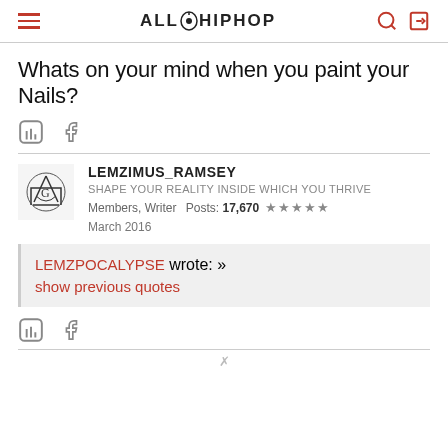ALLHIPHOP
Whats on your mind when you paint your Nails?
LEMZIMUS_RAMSEY
SHAPE YOUR REALITY INSIDE WHICH YOU THRIVE
Members, Writer  Posts: 17,670  ★★★★★
March 2016
LEMZPOCALYPSE wrote: »
show previous quotes